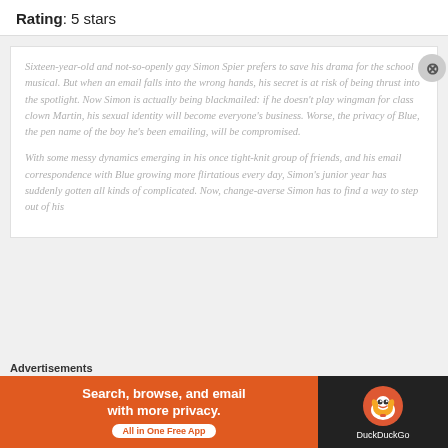Rating: 5 stars
Sixteen-year-old and not-so-openly gay Simon Spier prefers to save his drama for the school musical. But when an email falls into the wrong hands, his secret is at risk of being thrust into the spotlight. Now Simon is actually being blackmailed: if he doesn't play wingman for class clown Martin, his sexual identity will become everyone's business. Worse, the privacy of Blue, the pen name of the boy he's been emailing, will be compromised.

With some messy dynamics emerging in his once tight-knit group of friends, and his email correspondence with Blue growing more flirtatious every day, Simon's junior year has suddenly gotten all kinds of complicated. Now, change-averse Simon has to find a way to step out of his
Advertisements
[Figure (infographic): DuckDuckGo advertisement banner: orange background on left with white bold text 'Search, browse, and email with more privacy.' and white button 'All in One Free App'. Right side is dark background with DuckDuckGo duck logo and 'DuckDuckGo' text.]